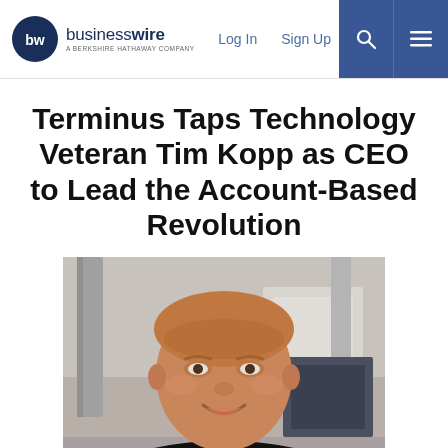businesswire — A Berkshire Hathaway Company | Log In | Sign Up
Terminus Taps Technology Veteran Tim Kopp as CEO to Lead the Account-Based Revolution
[Figure (photo): Portrait photo of Tim Kopp, a middle-aged man with short light hair, smiling, wearing a black polo shirt, photographed in an industrial or office setting with equipment visible in the background.]